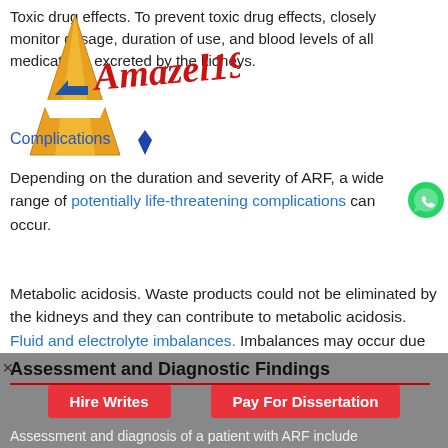Toxic drug effects. To prevent toxic drug effects, closely monitor dosage, duration of use, and blood levels of all medications excreted by the kidneys.
[Figure (logo): Amazel1990 logo with gold/yellow letter A shape and red cursive text 'Amazel1990' with blue pen]
[Figure (logo): WhatsApp green circle icon]
Complications
Depending on the duration and severity of ARF, a wide range of potentially life-threatening complications can occur.
Metabolic acidosis. Waste products could not be eliminated by the kidneys and they can contribute to metabolic acidosis.
Fluid and electrolyte imbalances. Imbalances may occur due to hemorrhage, renal losses, and gastrointestinal losses.
Assessment and Diagnostic Findings
Assessment and diagnosis of a patient with ARF include